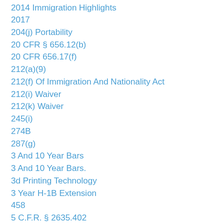2014 Immigration Highlights
2017
204(j) Portability
20 CFR § 656.12(b)
20 CFR 656.17(f)
212(a)(9)
212(f) Of Immigration And Nationality Act
212(i) Waiver
212(k) Waiver
245(i)
274B
287(g)
3 And 10 Year Bars
3 And 10 Year Bars.
3d Printing Technology
3 Year H-1B Extension
458
5 C.F.R. § 2635.402
5th Circuit
5 U.S.C. § 706(2)(A)
5 U.S.C. § 706(2)(E)